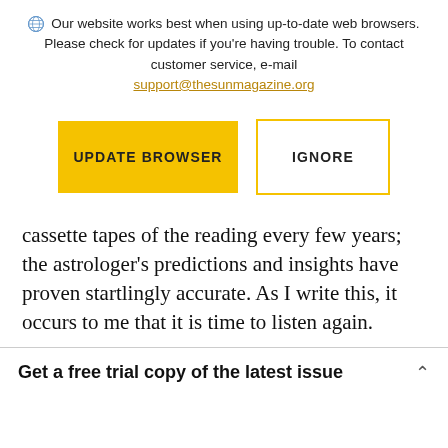Our website works best when using up-to-date web browsers. Please check for updates if you're having trouble. To contact customer service, e-mail support@thesunmagazine.org
[Figure (screenshot): Two buttons: a yellow filled button labeled 'UPDATE BROWSER' and a yellow-outlined white button labeled 'IGNORE']
cassette tapes of the reading every few years; the astrologer's predictions and insights have proven startlingly accurate. As I write this, it occurs to me that it is time to listen again.
Get a free trial copy of the latest issue